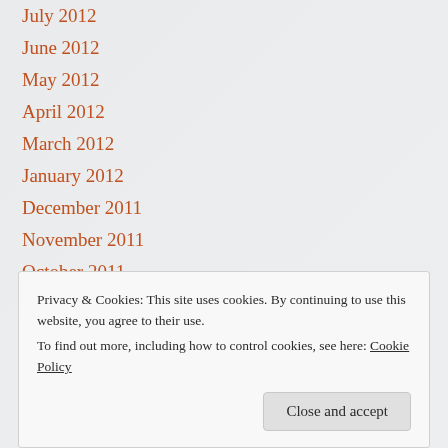July 2012
June 2012
May 2012
April 2012
March 2012
January 2012
December 2011
November 2011
October 2011
September 2011
August 2011
Privacy & Cookies: This site uses cookies. By continuing to use this website, you agree to their use.
To find out more, including how to control cookies, see here: Cookie Policy
Close and accept